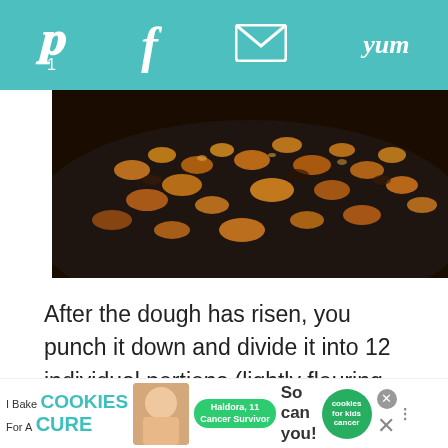Pinterest 1 | Facebook | Email | Yum
[Figure (photo): Close-up photo of caramelized or candied nut filling on a dark surface, brown and golden tones]
After the dough has risen, you punch it down and divide it into 12 individual portions (lightly flouring as needed). You pat the portions into 5 to 6 inch disks, spoon a heaping tablespoon of filling in each disk and then bring up the edges and pinch them to...
[Figure (infographic): Cookie fundraiser advertisement banner at bottom of page: 'I Bake COOKIES For A CURE' with Haldora, 11 Cancer Survivor badge, So can you! text, cookies for kids cancer logo, and close buttons]